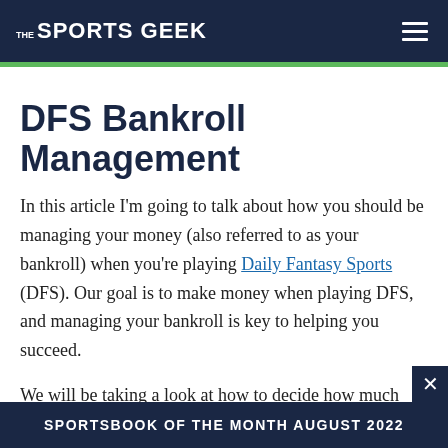THE SPORTS GEEK
DFS Bankroll Management
In this article I'm going to talk about how you should be managing your money (also referred to as your bankroll) when you're playing Daily Fantasy Sports (DFS). Our goal is to make money when playing DFS, and managing your bankroll is key to helping you succeed.
We will be taking a look at how to decide how much money to be putting in play each week, how much of your money should be going towards cash games and
SPORTSBOOK OF THE MONTH AUGUST 2022